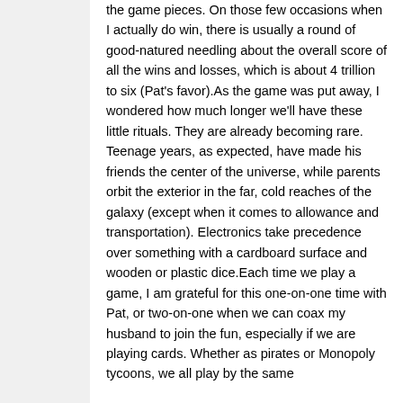the game pieces. On those few occasions when I actually do win, there is usually a round of good-natured needling about the overall score of all the wins and losses, which is about 4 trillion to six (Pat's favor).As the game was put away, I wondered how much longer we'll have these little rituals. They are already becoming rare. Teenage years, as expected, have made his friends the center of the universe, while parents orbit the exterior in the far, cold reaches of the galaxy (except when it comes to allowance and transportation). Electronics take precedence over something with a cardboard surface and wooden or plastic dice.Each time we play a game, I am grateful for this one-on-one time with Pat, or two-on-one when we can coax my husband to join the fun, especially if we are playing cards. Whether as pirates or Monopoly tycoons, we all play by the same